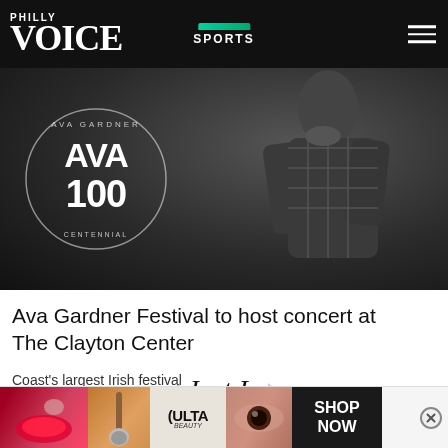Philly Voice — SPORTS
[Figure (photo): Black and white photo of a woman in a plaid outfit, with 'AVA GARDNER — AVA 100' circular badge overlay]
Ava Gardner Festival to host concert at The Clayton Center
Just In
[Figure (screenshot): Video thumbnail for Thymesia: Restore the Kingdom of Hermes with play button, alongside popup card reading 'Is Thymesia the new Elden Ring?' with close button]
Coast's largest Irish festival
[Figure (other): ULTA Beauty advertisement banner with makeup imagery and SHOP NOW call to action]